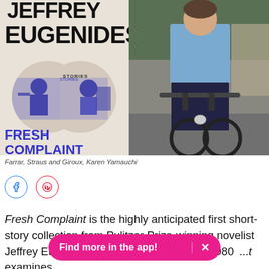[Figure (illustration): Book cover of 'Fresh Complaint' by Jeffrey Eugenides with two circular illustrations showing people and text 'STORIES'. Title in large bold black letters at top, subtitle 'FRESH COMPLAINT' in blue at bottom. Background is beige/cream.]
[Figure (photo): Photo of a man in a light blue shirt riding a bicycle on a city street, trees visible in background.]
Farrar, Straus and Giroux, Karen Yamauchi
Fresh Complaint is the highly anticipated first short-story collection from Pulitzer Prize-winning novelist Jeffrey Eugenides...ss the world from the 1980...t examines